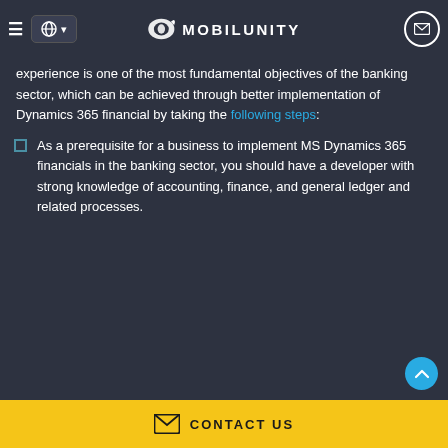MOBILUNITY
experience is one of the most fundamental objectives of the banking sector, which can be achieved through better implementation of Dynamics 365 financial by taking the following steps:
As a prerequisite for a business to implement MS Dynamics 365 financials in the banking sector, you should have a developer with strong knowledge of accounting, finance, and general ledger and related processes.
CONTACT US